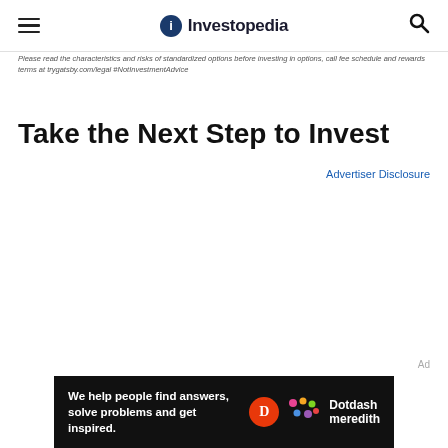Investopedia
Please read the characteristics and risks of standardized options before investing in options, call fee schedule and rewards terms at trygatsby.com/legal #NotInvestmentAdvice
Take the Next Step to Invest
Advertiser Disclosure
Ad
We help people find answers, solve problems and get inspired. Dotdash meredith